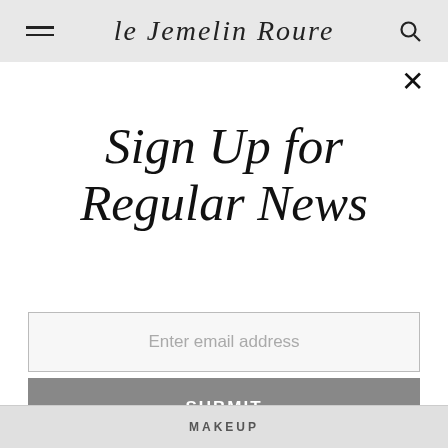le Jemelin Roure
Sign Up for Regular News
Enter email address
SUBMIT
MAKEUP